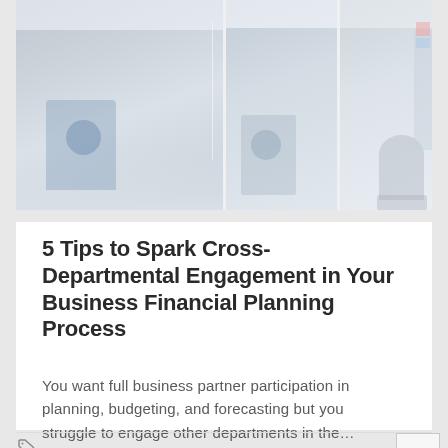[Figure (photo): Office photo strip showing two panels: left panel with a woman in a blue top sitting in a modern glass office, right panel split into two sections showing a woman sitting at a desk and an empty modern office space with a gray chair.]
5 Tips to Spark Cross-Departmental Engagement in Your Business Financial Planning Process
You want full business partner participation in planning, budgeting, and forecasting but you struggle to engage other departments in the…
ACCOUNTING / FINANCE, BUSINESS INTELLIGENCE